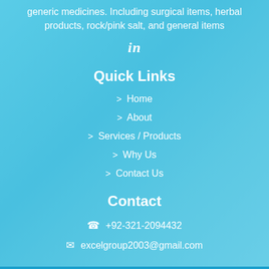generic medicines. Including surgical items, herbal products, rock/pink salt, and general items
in
Quick Links
> Home
> About
> Services / Products
> Why Us
> Contact Us
Contact
+92-321-2094432
excelgroup2003@gmail.com